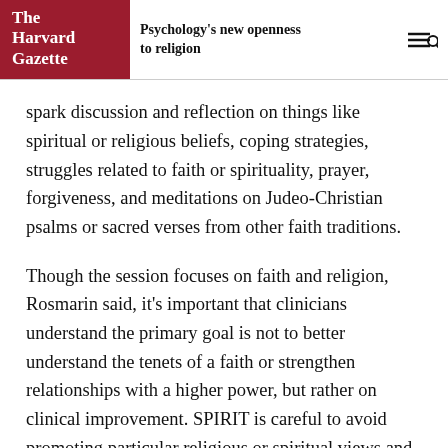The Harvard Gazette — Psychology's new openness to religion
spark discussion and reflection on things like spiritual or religious beliefs, coping strategies, struggles related to faith or spirituality, prayer, forgiveness, and meditations on Judeo-Christian psalms or sacred verses from other faith traditions.
Though the session focuses on faith and religion, Rosmarin said, it's important that clinicians understand the primary goal is not to better understand the tenets of a faith or strengthen relationships with a higher power, but rather on clinical improvement. SPIRIT is careful to avoid promoting particular religious or spiritual views and instead seeks to help patients identify resources that can help in their recovery.
“I think this is a great example of how, as a tradition and